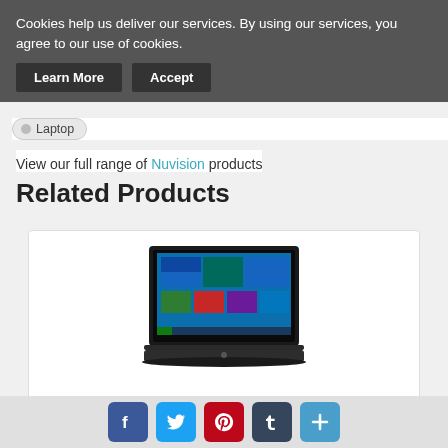Cookies help us deliver our services. By using our services, you agree to our use of cookies.
Learn More  Accept
Laptop
View our full range of Nuvision products
Related Products
[Figure (photo): Dell laptop with Windows 10 screen open, shown in profile view on a white background inside a product card]
Dell Inspiron i5378-7171GRY 13.3" F...
from $550.00
Facebook Twitter Pinterest Tumblr Share buttons